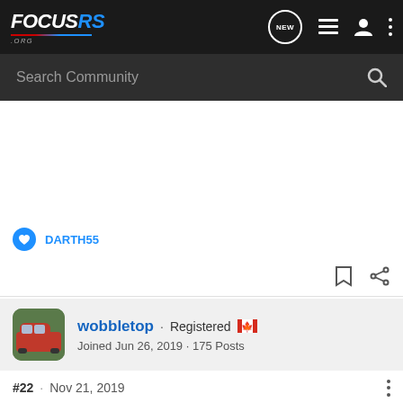[Figure (logo): FocusRS.org logo in white and blue italic bold text on dark background]
Search Community
DARTH55
wobbletop · Registered 🇨🇦
Joined Jun 26, 2019 · 175 Posts
#22 · Nov 21, 2019